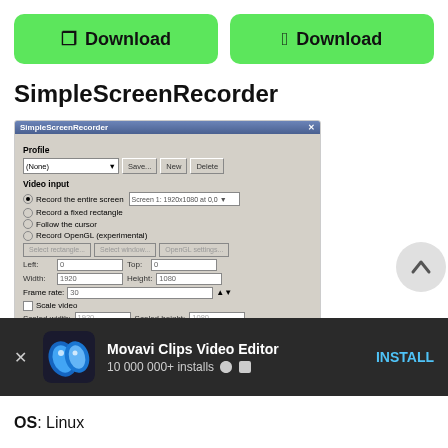[Figure (other): Two green download buttons side by side: Windows Download and Mac Download]
SimpleScreenRecorder
[Figure (screenshot): Screenshot of SimpleScreenRecorder application dialog showing Profile, Video input, and Audio input settings panels]
[Figure (infographic): Movavi Clips Video Editor advertisement banner with logo, 10 000 000+ installs, and INSTALL button]
OS: Linux